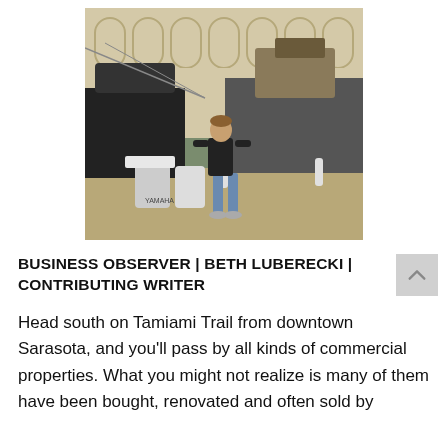[Figure (photo): A person in a black long-sleeve shirt and jeans stands on a marina dock in front of large boats. There is a building with arched windows visible in the background.]
BUSINESS OBSERVER | BETH LUBERECKI | CONTRIBUTING WRITER
Head south on Tamiami Trail from downtown Sarasota, and you'll pass by all kinds of commercial properties. What you might not realize is many of them have been bought, renovated and often sold by